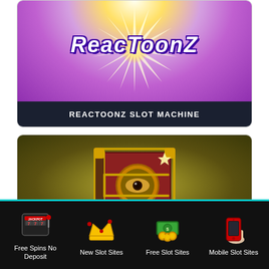[Figure (screenshot): Reactoonz slot machine promotional card with purple/pink radial gradient background, starburst light effect, and stylized white 'REACTOONZ' title text with purple outline]
REACTOONZ SLOT MACHINE
[Figure (screenshot): Ornate book/scroll game symbol with gold and red colors on an olive/dark gold background, featuring an eye symbol and decorative binding]
Free Spins No Deposit
New Slot Sites
Free Slot Sites
Mobile Slot Sites